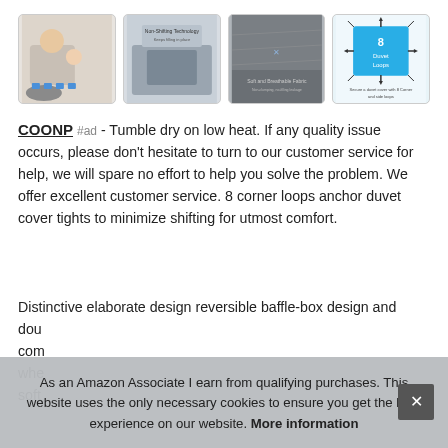[Figure (photo): Four product images in a row showing a weighted blanket product: (1) woman with baby under blanket, (2) blanket on sofa with non-shifting technology text, (3) close-up of soft gray fabric, (4) diagram showing 8 duvet loops with corner and side loops]
COONP #ad - Tumble dry on low heat. If any quality issue occurs, please don't hesitate to turn to our customer service for help, we will spare no effort to help you solve the problem. We offer excellent customer service. 8 corner loops anchor duvet cover tights to minimize shifting for utmost comfort.
Distinctive elaborate design reversible baffle-box design and dou... com... whe... soft...
As an Amazon Associate I earn from qualifying purchases. This website uses the only necessary cookies to ensure you get the best experience on our website. More information